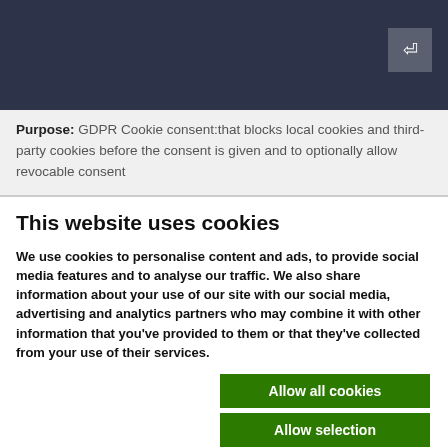Purpose: GDPR Cookie consent:that blocks local cookies and third-party cookies before the consent is given and to optionally allow revocable consent
This website uses cookies
We use cookies to personalise content and ads, to provide social media features and to analyse our traffic. We also share information about your use of our site with our social media, advertising and analytics partners who may combine it with other information that you've provided to them or that they've collected from your use of their services.
Allow all cookies
Allow selection
Use necessary cookies only
Necessary  Preferences  Statistics  Marketing  Show details